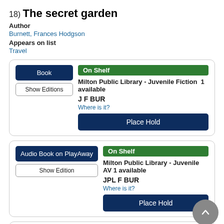18) The secret garden
Author
Burnett, Frances Hodgson
Appears on list
Travel
Book | On Shelf | Milton Public Library - Juvenile Fiction 1 available | J F BUR | Where is it? | Place Hold
Audio Book on PlayAway | On Shelf | Milton Public Library - Juvenile AV 1 available | JPL F BUR | Where is it? | Place Hold
eAudiobook | Available Online